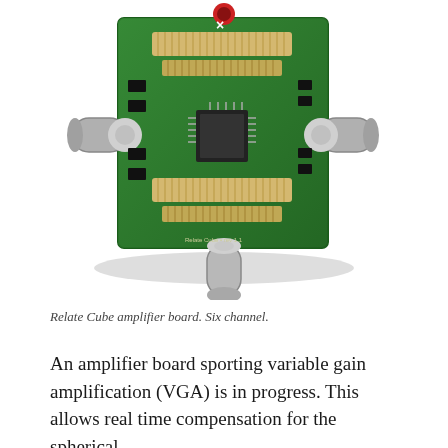[Figure (photo): Top-down photo of a green PCB amplifier board (Relate Cube amplifier board, six channel) with connectors and components, three cylindrical metal connectors protruding from three sides (left, right, bottom), and a red component at the top center.]
Relate Cube amplifier board. Six channel.
An amplifier board sporting variable gain amplification (VGA) is in progress. This allows real time compensation for the spherical